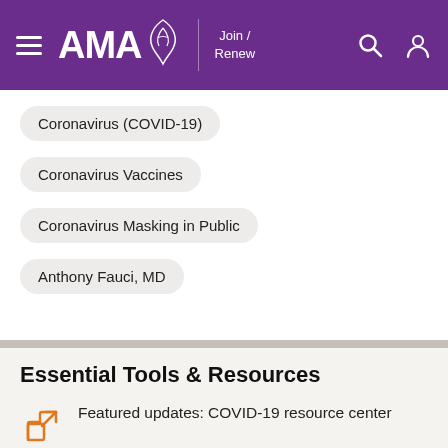AMA — Join / Renew
Coronavirus (COVID-19)
Coronavirus Vaccines
Coronavirus Masking in Public
Anthony Fauci, MD
Essential Tools & Resources
Featured updates: COVID-19 resource center
Get the news you need with COVID-19